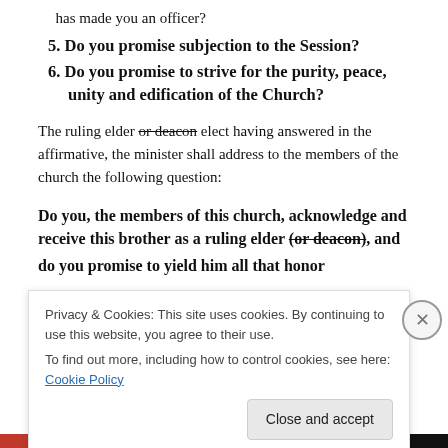has made you an officer?
5. Do you promise subjection to the Session?
6. Do you promise to strive for the purity, peace, unity and edification of the Church?
The ruling elder or deacon elect having answered in the affirmative, the minister shall address to the members of the church the following question:
Do you, the members of this church, acknowledge and receive this brother as a ruling elder (or deacon), and do you promise to yield him all that honor
Privacy & Cookies: This site uses cookies. By continuing to use this website, you agree to their use.
To find out more, including how to control cookies, see here: Cookie Policy